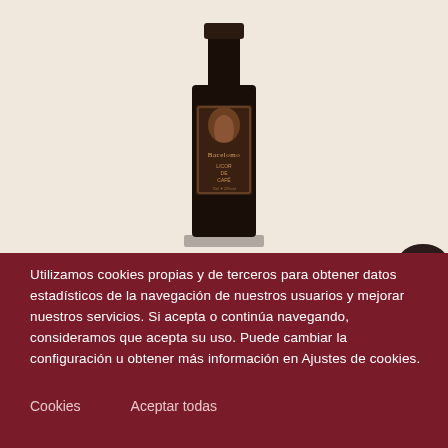[Figure (photo): A tall dark glass bottle of 'Bacelomo Licor de Cafe' (coffee liqueur) with a decorative label featuring a portrait, standing on a beige/cream background.]
Utilizamos cookies propias y de terceros para obtener datos estadísticos de la navegación de nuestros usuarios y mejorar nuestros servicios. Si acepta o continúa navegando, consideramos que acepta su uso. Puede cambiar la configuración u obtener más información en Ajustes de cookies.
Cookies
Aceptar todas